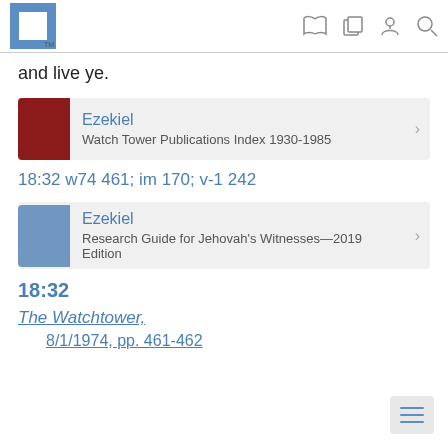JW.org app header with logo and navigation icons
and live ye.
Ezekiel — Watch Tower Publications Index 1930-1985
18:32 w74 461; im 170; v-1 242
Ezekiel — Research Guide for Jehovah's Witnesses—2019 Edition
18:32
The Watchtower,
8/1/1974, pp. 461-462